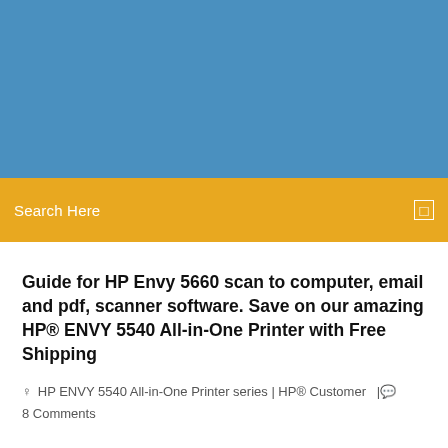[Figure (other): Blue header background banner]
Search Here
Guide for HP Envy 5660 scan to computer, email and pdf, scanner software. Save on our amazing HP® ENVY 5540 All-in-One Printer with Free Shipping
HP ENVY 5540 All-in-One Printer series | HP® Customer  |  8 Comments
Laden Sie aktuelle Treiber, Firmware und Software für HP ENVY